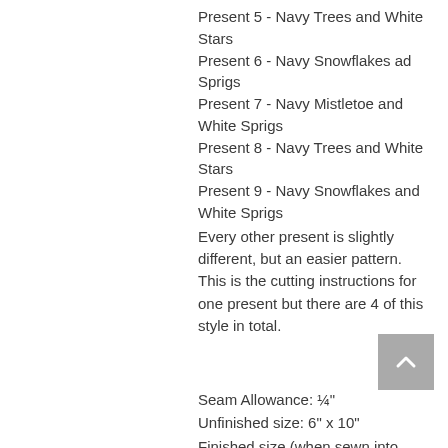Present 5 - Navy Trees and White Stars
Present 6 - Navy Snowflakes ad Sprigs
Present 7 - Navy Mistletoe and White Sprigs
Present 8 - Navy Trees and White Stars
Present 9 - Navy Snowflakes and White Sprigs
Every other present is slightly different, but an easier pattern. This is the cutting instructions for one present but there are 4 of this style in total.
Seam Allowance: ¼"
Unfinished size: 6" x 10"
Finished size (when sewn into your quilt): 5½" x 9½"